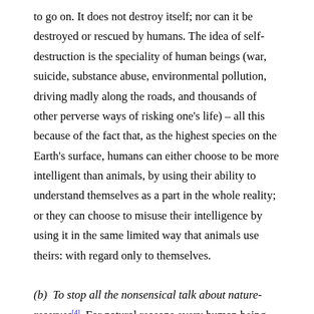to go on. It does not destroy itself; nor can it be destroyed or rescued by humans. The idea of self-destruction is the speciality of human beings (war, suicide, substance abuse, environmental pollution, driving madly along the roads, and thousands of other perverse ways of risking one's life) – all this because of the fact that, as the highest species on the Earth's surface, humans can either choose to be more intelligent than animals, by using their ability to understand themselves as a part in the whole reality; or they can choose to misuse their intelligence by using it in the same limited way that animals use theirs: with regard only to themselves.
(b)  To stop all the nonsensical talk about nature-reserves[4]. For natural reasons every human being